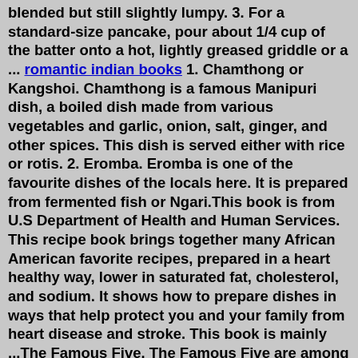blended but still slightly lumpy. 3. For a standard-size pancake, pour about 1/4 cup of the batter onto a hot, lightly greased griddle or a ... romantic indian books 1. Chamthong or Kangshoi. Chamthong is a famous Manipuri dish, a boiled dish made from various vegetables and garlic, onion, salt, ginger, and other spices. This dish is served either with rice or rotis. 2. Eromba. Eromba is one of the favourite dishes of the locals here. It is prepared from fermented fish or Ngari.This book is from U.S Department of Health and Human Services. This recipe book brings together many African American favorite recipes, prepared in a heart healthy way, lower in saturated fat, cholesterol, and sodium. It shows how to prepare dishes in ways that help protect you and your family from heart disease and stroke. This book is mainly ...The Famous Five. The Famous Five are among Enid Blyton's best-loved creations and countless children have gone adventuring with them since the publication of Five on a Treasure Island in 1942, the first of twenty-one full-length